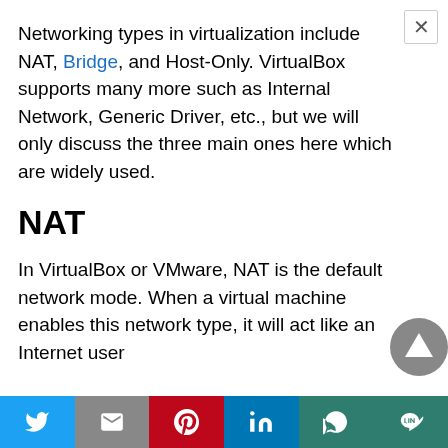Networking types in virtualization include NAT, Bridge, and Host-Only. VirtualBox supports many more such as Internal Network, Generic Driver, etc., but we will only discuss the three main ones here which are widely used.
NAT
In VirtualBox or VMware, NAT is the default network mode. When a virtual machine enables this network type, it will act like an Internet user...